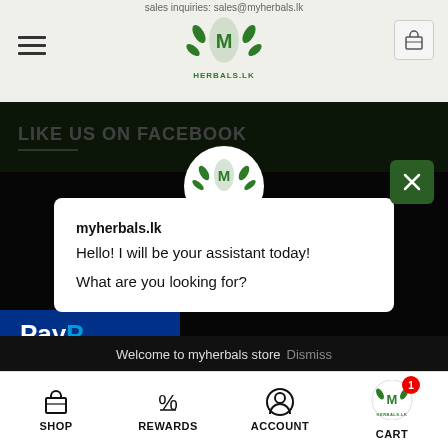sales inquiries: sales@myherbals.lk
[Figure (logo): Herbals.lk green leaf logo with text HERBALS.LK]
LIKE US ON FACEBOOK
[Figure (screenshot): Chat assistant popup from myherbals.lk with circular logo, close button, chat box saying 'myherbals.lk Hello! I will be your assistant today! What are you looking for?' and buttons: Order Online, Trusted Brands, Contact Us, Trace your order]
myherbals.lk
Hello! I will be your assistant today!

What are you looking for?
Order Online
Trusted Brands
Contact Us
Trace your order
Welcome to myherbals store Dismiss
SHOP   REWARDS   ACCOUNT   CART